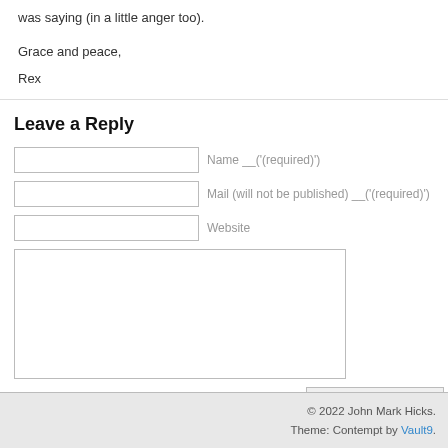was saying (in a little anger too).
Grace and peace,
Rex
Leave a Reply
Name __('(required)')
Mail (will not be published) __('(required)')
Website
© 2022 John Mark Hicks. Theme: Contempt by Vault9.